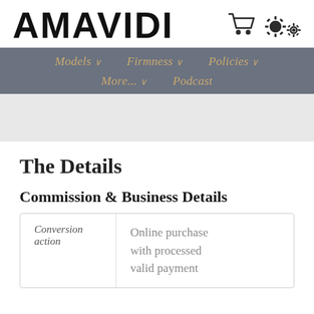[Figure (logo): AMAVIDI logo in bold black sans-serif font with shopping cart and settings gear icons to the right]
Models ∨   Firmness ∨   Policies ∨   More... ∨   Podcast
[Figure (photo): Gray hero banner placeholder image]
The Details
Commission & Business Details
| Conversion action | Online purchase with processed valid payment |